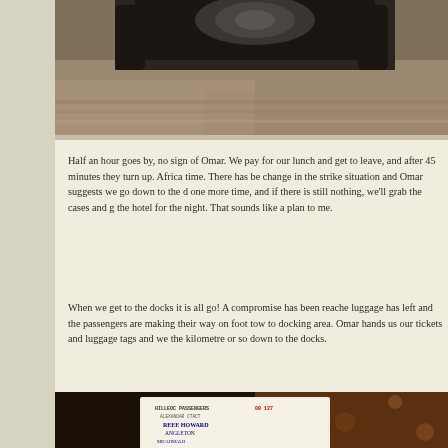[Figure (photo): Top portion of a photo showing a vehicle wheel on a wet muddy surface in the rain]
Half an hour goes by, no sign of Omar. We pay for our lunch and get to leave, and after 45 minutes they turn up. Africa time. There has be change in the strike situation and Omar suggests we go down to the d one more time, and if there is still nothing, we'll grab the cases and g the hotel for the night. That sounds like a plan to me.
When we get to the docks it is all go! A compromise has been reache luggage has left and the passengers are making their way on foot tow to docking area. Omar hands us our tickets and luggage tags and we the kilometre or so down to the docks.
[Figure (photo): Bottom photo showing a hand holding a handwritten luggage tag or ticket with text including 'HILLEOC PASSENGERS', 'REEF HOWARD', 'ANGLETON' and other handwritten text, against a patterned background]